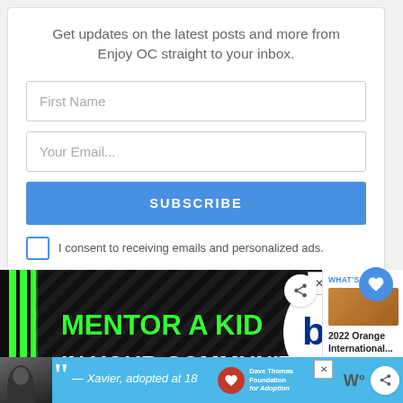Get updates on the latest posts and more from Enjoy OC straight to your inbox.
First Name
Your Email...
SUBSCRIBE
I consent to receiving emails and personalized ads.
[Figure (screenshot): Big Brothers Big Sisters of America advertisement banner: black background with green vertical bars, diagonal line pattern, text reading MENTOR A KID IN YOUR COMMUNITY in green and white. Big Brothers Big Sisters logo shown in white circle overlay. WHAT'S NEXT arrow with 2022 Orange International thumbnail.]
[Figure (screenshot): Dave Thomas Foundation for Adoption advertisement: blue background with photo of young man, quote text '— Xavier, adopted at 18', Dave Thomas Foundation logo, close and share buttons.]